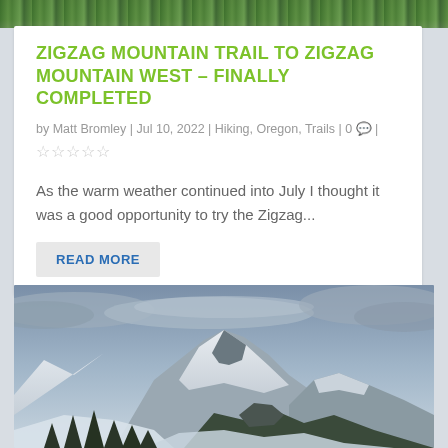[Figure (photo): Top strip of a forest/nature photo showing green tree canopy]
ZIGZAG MOUNTAIN TRAIL TO ZIGZAG MOUNTAIN WEST – FINALLY COMPLETED
by Matt Bromley | Jul 10, 2022 | Hiking, Oregon, Trails | 0 💬 |
★★★★★ (empty star rating)
As the warm weather continued into July I thought it was a good opportunity to try the Zigzag...
READ MORE
[Figure (photo): Snow-covered mountain peak with lenticular cloud, evergreen trees in foreground, cloudy sky — likely Mt. Hood, Oregon]